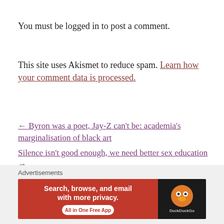You must be logged in to post a comment.
This site uses Akismet to reduce spam. Learn how your comment data is processed.
← Byron was a poet, Jay-Z can't be: academia's marginalisation of black art
Silence isn't good enough, we need better sex education →
Advertisements
Advertisements
[Figure (screenshot): DuckDuckGo advertisement banner: 'Search, browse, and email with more privacy. All in One Free App' with DuckDuckGo logo on dark background]